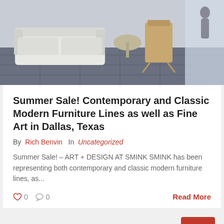[Figure (photo): Indoor furniture showroom with white wicker sofas, rocking chairs, and tile flooring]
Summer Sale! Contemporary and Classic Modern Furniture Lines as well as Fine Art in Dallas, Texas
By Rich Benvin  In  Uncategorized
Summer Sale! – ART + DESIGN AT SMINK SMINK has been representing both contemporary and classic modern furniture lines, as...
0  0  Read More
[Figure (infographic): Date badge circle showing 31.05 / 2018]
[Figure (other): Red scroll-to-top button with upward chevron arrow]